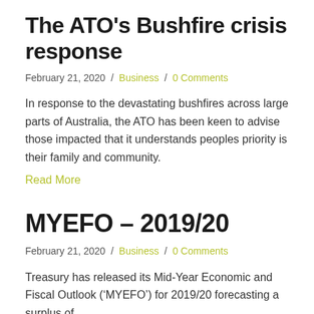The ATO's Bushfire crisis response
February 21, 2020 / Business / 0 Comments
In response to the devastating bushfires across large parts of Australia, the ATO has been keen to advise those impacted that it understands peoples priority is their family and community.
Read More
MYEFO – 2019/20
February 21, 2020 / Business / 0 Comments
Treasury has released its Mid-Year Economic and Fiscal Outlook ('MYEFO') for 2019/20 forecasting a surplus of